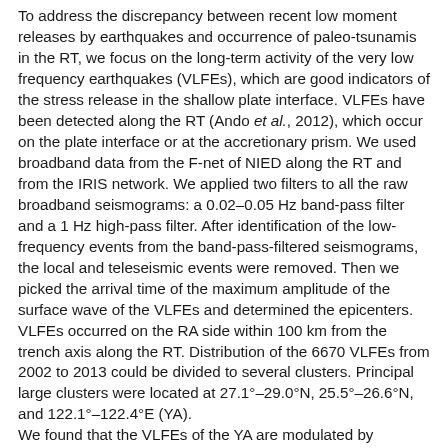To address the discrepancy between recent low moment releases by earthquakes and occurrence of paleo-tsunamis in the RT, we focus on the long-term activity of the very low frequency earthquakes (VLFEs), which are good indicators of the stress release in the shallow plate interface. VLFEs have been detected along the RT (Ando et al., 2012), which occur on the plate interface or at the accretionary prism. We used broadband data from the F-net of NIED along the RT and from the IRIS network. We applied two filters to all the raw broadband seismograms: a 0.02–0.05 Hz band-pass filter and a 1 Hz high-pass filter. After identification of the low-frequency events from the band-pass-filtered seismograms, the local and teleseismic events were removed. Then we picked the arrival time of the maximum amplitude of the surface wave of the VLFEs and determined the epicenters. VLFEs occurred on the RA side within 100 km from the trench axis along the RT. Distribution of the 6670 VLFEs from 2002 to 2013 could be divided to several clusters. Principal large clusters were located at 27.1°–29.0°N, 25.5°–26.6°N, and 122.1°–122.4°E (YA). We found that the VLFEs of the YA are modulated by repeating slow slip events (SSEs) which occur beneath south RA. The activity of the VLFEs increased to two times